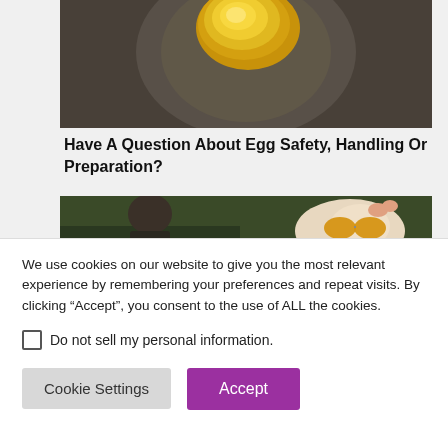[Figure (photo): Close-up photo of an egg yolk resting on a dark textured surface, showing a yellow-orange rounded yolk.]
Have A Question About Egg Safety, Handling Or Preparation?
[Figure (photo): Photo showing a person from behind looking at a chicken wearing sunglasses, with a dark green background.]
We use cookies on our website to give you the most relevant experience by remembering your preferences and repeat visits. By clicking “Accept”, you consent to the use of ALL the cookies.
Do not sell my personal information.